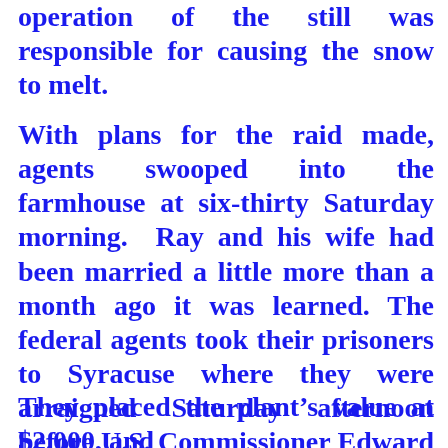operation of the still was responsible for causing the snow to melt.
With plans for the raid made, agents swooped into the farmhouse at six-thirty Saturday morning. Ray and his wife had been married a little more than a month ago it was learned. The federal agents took their prisoners to Syracuse where they were arraigned Saturday afternoon before U.S. Commissioner Edward Chapman.
They placed the plant’s value at $2,000, and